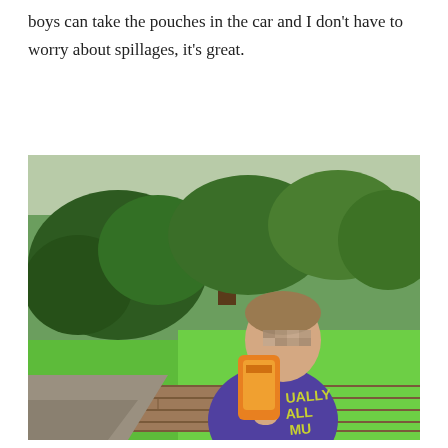boys can take the pouches in the car and I don't have to worry about spillages, it's great.
[Figure (photo): A young boy with a pixelated/blurred face wearing a purple t-shirt, drinking from an orange juice pouch, standing outdoors in a park or garden with green lawn, hedges, trees, and a low brick wall in the background.]